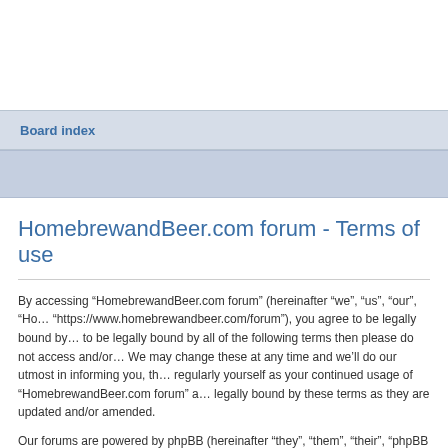Board index
HomebrewandBeer.com forum - Terms of use
By accessing “HomebrewandBeer.com forum” (hereinafter “we”, “us”, “our”, “HomebrewandBeer.com forum”, “https://www.homebrewandbeer.com/forum”), you agree to be legally bound by the following terms. If you do not agree to be legally bound by all of the following terms then please do not access and/or use “HomebrewandBeer.com forum”. We may change these at any time and we’ll do our utmost in informing you, though it would be prudent to review this regularly yourself as your continued usage of “HomebrewandBeer.com forum” after changes mean you legally bound by these terms as they are updated and/or amended.
Our forums are powered by phpBB (hereinafter “they”, “them”, “their”, “phpBB software”, “www.phpbb.com”, “phpBB Group”, “phpBB Teams”) which is a bulletin board solution released under the “GNU General Public License v2” (hereinafter “GPL”) and can be downloaded from www.phpbb.com. The phpBB software only facilitates internet based discussions; phpBB Limited, phpBB Teams, the phpBB Group are not responsible for what we allow and/or disallow as permissible content and/or conduct. For further information about phpBB, please see: https://www.phpbb.com/.
You agree not to post any abusive, obscene, vulgar, slanderous, hateful, threatening, sexually-orientated or any other material that may violate any laws be it of your country, the country where “HomebrewandBeer.com forum” is hosted or International Law.